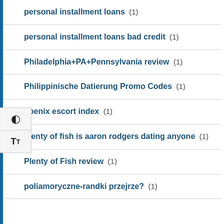personal installment loans (1)
personal installment loans bad credit (1)
Philadelphia+PA+Pennsylvania review (1)
Philippinische Datierung Promo Codes (1)
hoenix escort index (1)
plenty of fish is aaron rodgers dating anyone (1)
Plenty of Fish review (1)
poliamoryczne-randki przejrze? (1)